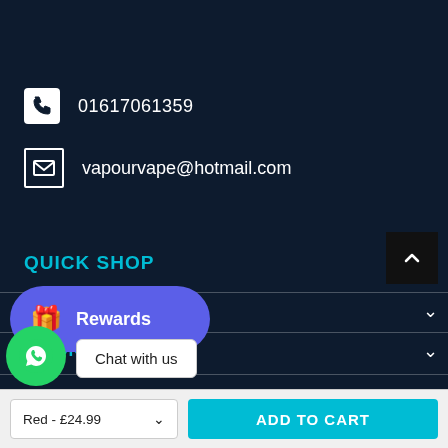01617061359
vapourvape@hotmail.com
QUICK SHOP
CUSTOMER SERVICE
INFORMATION
[Figure (screenshot): Rewards button overlay with gift icon]
[Figure (screenshot): WhatsApp chat button with Chat with us bubble]
Red - £24.99
ADD TO CART